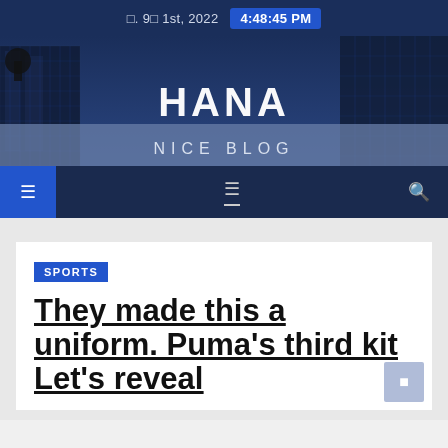□. 9□ 1st, 2022  4:48:45 PM
[Figure (photo): Blog banner photo showing city skyscrapers with glass facades against a blue sky, overlaid with the blog name HANA and subtitle NICE BLOG]
HANA NICE BLOG
[Figure (screenshot): Navigation bar with menu icon on left, center icon with underline, and search icon on right, dark navy background]
SPORTS
They made this a uniform. Puma's third kit Let's reveal